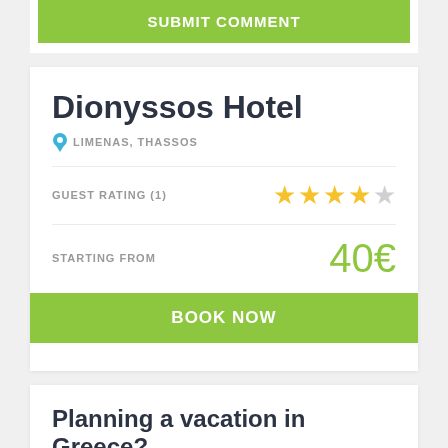SUBMIT COMMENT
Dionyssos Hotel
LIMENAS, THASSOS
GUEST RATING (1)
STARTING FROM   40€
BOOK NOW
Planning a vacation in Greece?
Need advice on choosing the ideal destination and